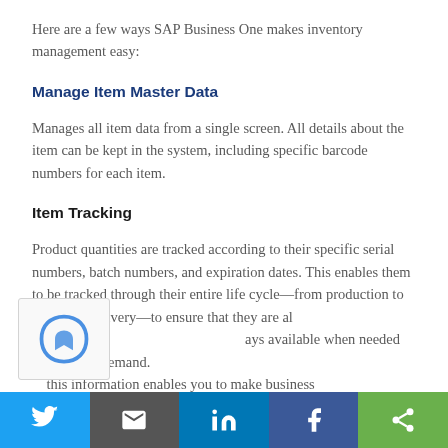Here are a few ways SAP Business One makes inventory management easy:
Manage Item Master Data
Manages all item data from a single screen. All details about the item can be kept in the system, including specific barcode numbers for each item.
Item Tracking
Product quantities are tracked according to their specific serial numbers, batch numbers, and expiration dates. This enables them to be tracked through their entire life cycle—from production to customer delivery—to ensure that they are always available when needed and in high demand. Having this information enables you to make business